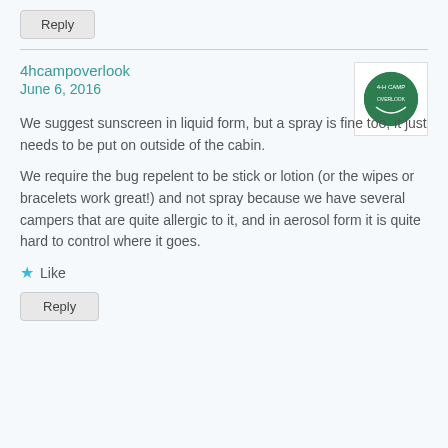Reply
4hcampoverlook
June 6, 2016
[Figure (logo): 4-H Camp Overlook circular green logo]
We suggest sunscreen in liquid form, but a spray is fine too, it just needs to be put on outside of the cabin.

We require the bug repelent to be stick or lotion (or the wipes or bracelets work great!) and not spray because we have several campers that are quite allergic to it, and in aerosol form it is quite hard to control where it goes.
★ Like
Reply